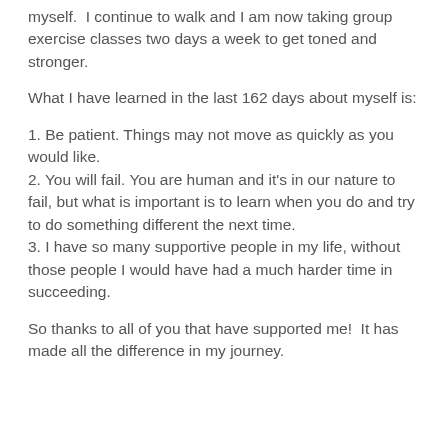myself.  I continue to walk and I am now taking group exercise classes two days a week to get toned and stronger.
What I have learned in the last 162 days about myself is:
1. Be patient. Things may not move as quickly as you would like.
2. You will fail. You are human and it's in our nature to fail, but what is important is to learn when you do and try to do something different the next time.
3. I have so many supportive people in my life, without those people I would have had a much harder time in succeeding.
So thanks to all of you that have supported me!  It has made all the difference in my journey.